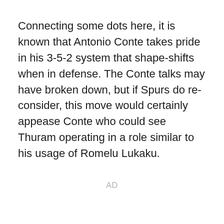Connecting some dots here, it is known that Antonio Conte takes pride in his 3-5-2 system that shape-shifts when in defense. The Conte talks may have broken down, but if Spurs do re-consider, this move would certainly appease Conte who could see Thuram operating in a role similar to his usage of Romelu Lukaku.
AD